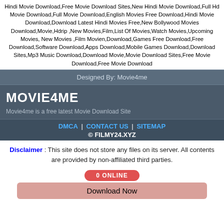Hindi Movie Download,Free Movie Download Sites,New Hindi Movie Download,Full Hd Movie Download,Full Movie Download,English Movies Free Download,Hindi Movie Download,Download Latest Hindi Movies Free,New Bollywood Movies Download,Movie,Hdrip ,New Movies,Film,List Of Movies,Watch Movies,Upcoming Movies, New Movies ,Film Movien,Download,Games Free Download,Free Download,Software Download,Apps Download,Mobile Games Download,Download Sites,Mp3 Music Download,Download Movie,Movie Download Sites,Free Movie Download,Free Movie Download
Designed By: Movie4me
MOVIE4ME
Movie4me is a free latest Movie Download Site
DMCA | CONTACT US | SITEMAP
© FILMY24.XYZ
Disclaimer : This site does not store any files on its server. All contents are provided by non-affiliated third parties.
0 ONLINE
Download Now